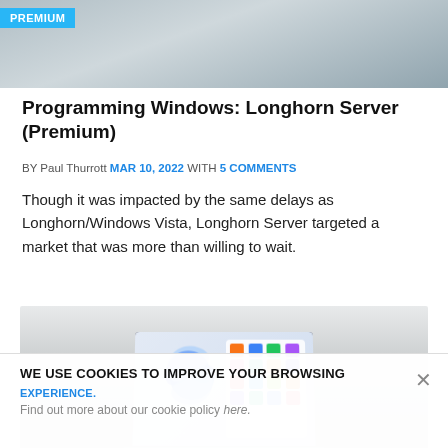[Figure (photo): Gray banner image at top of article with PREMIUM badge overlay]
Programming Windows: Longhorn Server (Premium)
BY Paul Thurrott MAR 10, 2022 WITH 5 COMMENTS
Though it was impacted by the same delays as Longhorn/Windows Vista, Longhorn Server targeted a market that was more than willing to wait.
[Figure (photo): Laptop displaying Windows 11 Start Menu on a light gray surface]
WE USE COOKIES TO IMPROVE YOUR BROWSING EXPERIENCE. Find out more about our cookie policy here.